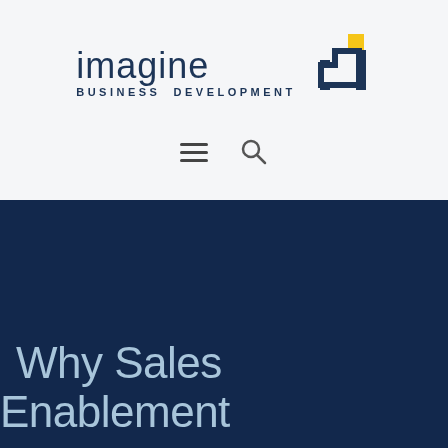[Figure (logo): Imagine Business Development logo with dark navy text and an arrow icon with a yellow square accent]
[Figure (other): Navigation icons: hamburger menu (three horizontal lines) and a search/magnifying glass icon]
Why Sales Enablement